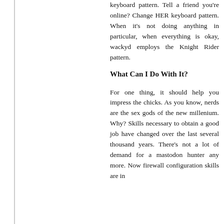keyboard pattern. Tell a friend you're online? Change HER keyboard pattern. When it's not doing anything in particular, when everything is okay, wackyd employs the Knight Rider pattern.
What Can I Do With It?
For one thing, it should help you impress the chicks. As you know, nerds are the sex gods of the new millenium. Why? Skills necessary to obtain a good job have changed over the last several thousand years. There's not a lot of demand for a mastodon hunter any more. Now firewall configuration skills are in